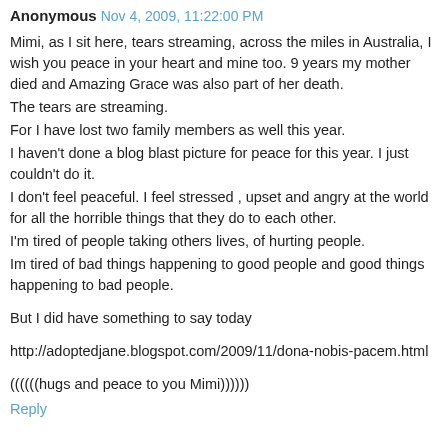Anonymous Nov 4, 2009, 11:22:00 PM
Mimi, as I sit here, tears streaming, across the miles in Australia, I wish you peace in your heart and mine too. 9 years my mother died and Amazing Grace was also part of her death.
The tears are streaming.
For I have lost two family members as well this year.
I haven't done a blog blast picture for peace for this year. I just couldn't do it.
I don't feel peaceful. I feel stressed , upset and angry at the world for all the horrible things that they do to each other.
I'm tired of people taking others lives, of hurting people.
Im tired of bad things happening to good people and good things happening to bad people.

But I did have something to say today

http://adoptedjane.blogspot.com/2009/11/dona-nobis-pacem.html

((((((hugs and peace to you Mimi))))))
Reply